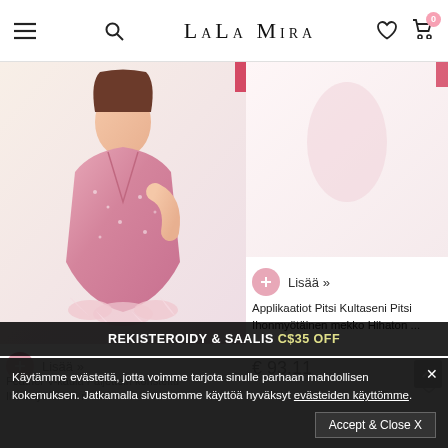LALA MIRA
[Figure (photo): Woman wearing a pink feathered sequin mini dress with V-neckline, shown from shoulders to thighs]
[Figure (photo): Partial view of another dress product on right side, mostly cropped]
Lisää »
Applikaatiot Pitsi Kultaseni Pitsi Ihonmyötäinen mekko Hihaton ...
€ 93.11
Lisää »
Feather V-kaula Paljettein koristeltu Ihonmyötäinen mekko
Käytämme evästeitä, jotta voimme tarjota sinulle parhaan mahdollisen kokemuksen. Jatkamalla sivustomme käyttöä hyväksyt evästeiden käyttömme.
REKISTERÖIDY & SAALIS C$35 OFF
Accept & Close X